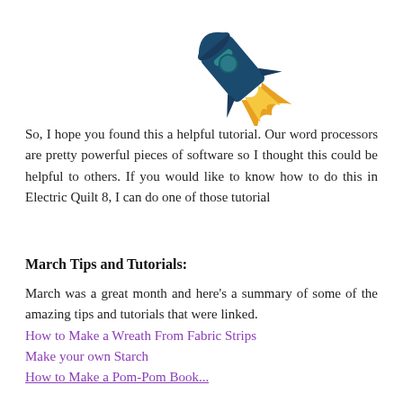[Figure (illustration): Colorful rocket ship illustration — dark blue rocket body with teal/dark blue details and orange/yellow flame blast at bottom, pointing upper-right direction, partially cropped at top of page.]
So, I hope you found this a helpful tutorial. Our word processors are pretty powerful pieces of software so I thought this could be helpful to others. If you would like to know how to do this in Electric Quilt 8, I can do one of those tutorial
March Tips and Tutorials:
March was a great month and here's a summary of some of the amazing tips and tutorials that were linked.
How to Make a Wreath From Fabric Strips
Make your own Starch
How to Make a Pom-Pom Book...